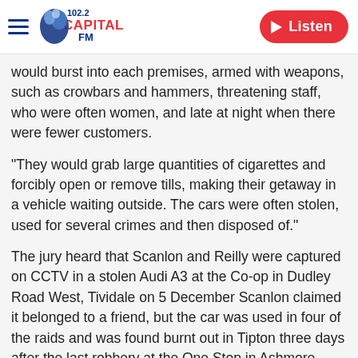102.2 Capital FM | Listen
would burst into each premises, armed with weapons, such as crowbars and hammers, threatening staff, who were often women, and late at night when there were fewer customers.
"They would grab large quantities of cigarettes and forcibly open or remove tills, making their getaway in a vehicle waiting outside. The cars were often stolen, used for several crimes and then disposed of."
The jury heard that Scanlon and Reilly were captured on CCTV in a stolen Audi A3 at the Co-op in Dudley Road West, Tividale on 5 December Scanlon claimed it belonged to a friend, but the car was used in four of the raids and was found burnt out in Tipton three days after the last robbery at the One Stop in Ashmore Park, Wolverhampton on 4 January.